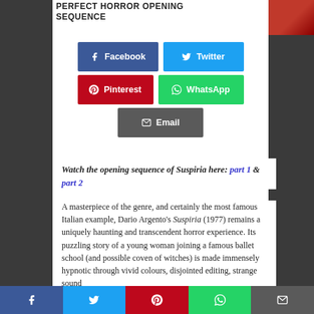PERFECT HORROR OPENING SEQUENCE
[Figure (other): Red image partial crop top right]
Facebook  Twitter  Pinterest  WhatsApp  Email (social share buttons)
Watch the opening sequence of Suspiria here: part 1 & part 2
A masterpiece of the genre, and certainly the most famous Italian example, Dario Argento's Suspiria (1977) remains a uniquely haunting and transcendent horror experience. Its puzzling story of a young woman joining a famous ballet school (and possible coven of witches) is made immensely hypnotic through vivid colours, disjointed editing, strange sound
Bottom share bar: Facebook, Twitter, Pinterest, WhatsApp, Email